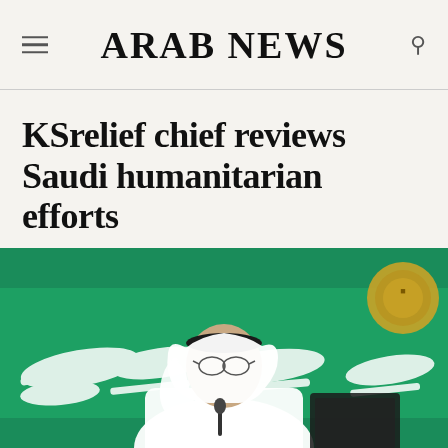ARAB NEWS
KSrelief chief reviews Saudi humanitarian efforts
[Figure (photo): A man in traditional Saudi white thobe and black headband speaks at a podium or lectern, with a green Saudi Arabian flag in the background featuring white Arabic script and a sword emblem. A gold circular emblem is visible in the upper right background. The photo is credited to WAM/EPA.]